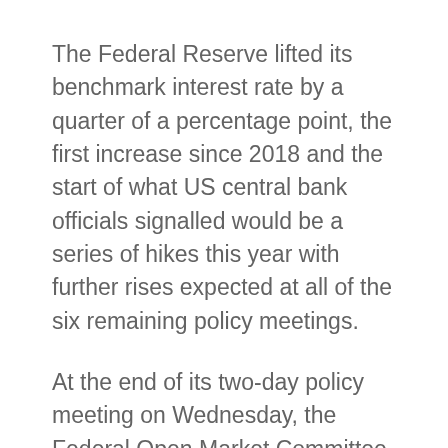The Federal Reserve lifted its benchmark interest rate by a quarter of a percentage point, the first increase since 2018 and the start of what US central bank officials signalled would be a series of hikes this year with further rises expected at all of the six remaining policy meetings.
At the end of its two-day policy meeting on Wednesday, the Federal Open Market Committee increased the federal funds rate by a quarter of a percentage point, bringing the target range to 0.25 to 0.50 per cent. It is the latest milestone for the US economy in its recovery from the pandemic and the most forceful step to date to combat the highest inflation in four decades.